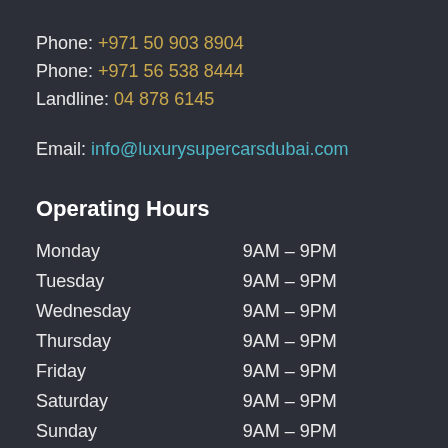Phone: +971 50 903 8904
Phone: +971 56 538 8444
Landline: 04 878 6145
Email: info@luxurysupercarsdubai.com
Operating Hours
| Day | Hours |
| --- | --- |
| Monday | 9AM – 9PM |
| Tuesday | 9AM – 9PM |
| Wednesday | 9AM – 9PM |
| Thursday | 9AM – 9PM |
| Friday | 9AM – 9PM |
| Saturday | 9AM – 9PM |
| Sunday | 9AM – 9PM |
After Hours Via WhatsApp